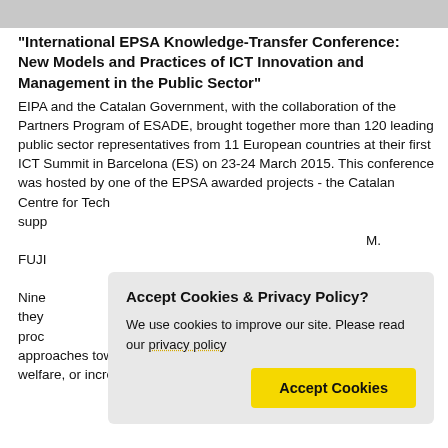“International EPSA Knowledge-Transfer Conference: New Models and Practices of ICT Innovation and Management in the Public Sector”
EIPA and the Catalan Government, with the collaboration of the Partners Program of ESADE, brought together more than 120 leading public sector representatives from 11 European countries at their first ICT Summit in Barcelona (ES) on 23-24 March 2015. This conference was hosted by one of the EPSA awarded projects - the Catalan Centre for Technologycation... supported by FUJITSU... Nine... they... processes... approaches towards eGovernment, deployed ICT for the common welfare, or increased the overall quality of the
Accept Cookies & Privacy Policy?
We use cookies to improve our site. Please read our privacy policy
Accept Cookies